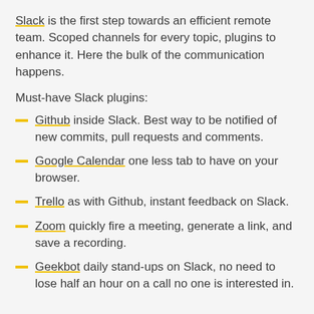Slack is the first step towards an efficient remote team. Scoped channels for every topic, plugins to enhance it. Here the bulk of the communication happens.
Must-have Slack plugins:
Github inside Slack. Best way to be notified of new commits, pull requests and comments.
Google Calendar one less tab to have on your browser.
Trello as with Github, instant feedback on Slack.
Zoom quickly fire a meeting, generate a link, and save a recording.
Geekbot daily stand-ups on Slack, no need to lose half an hour on a call no one is interested in.